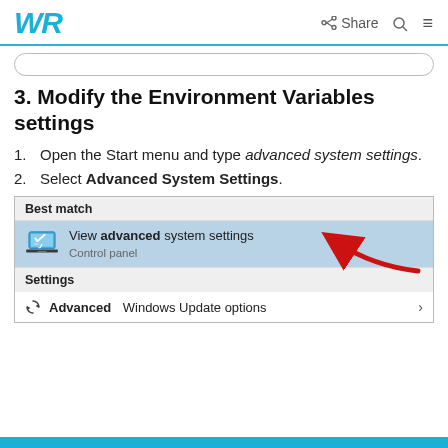WR | Share Q ≡
3. Modify the Environment Variables settings
1. Open the Start menu and type advanced system settings.
2. Select Advanced System Settings.
[Figure (screenshot): Windows Start menu search result showing 'View advanced system settings' highlighted in blue under 'Best match', with a red arrow pointing to it. Below is a 'Settings' section showing 'Advanced Windows Update options'.]